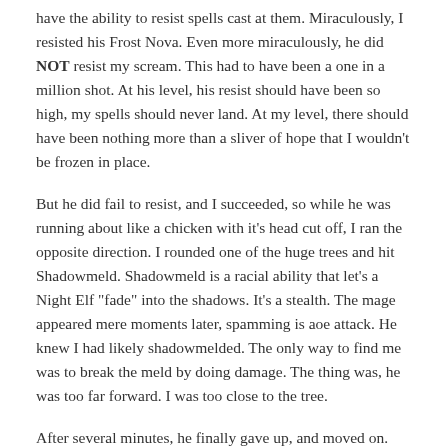have the ability to resist spells cast at them. Miraculously, I resisted his Frost Nova. Even more miraculously, he did NOT resist my scream. This had to have been a one in a million shot. At his level, his resist should have been so high, my spells should never land. At my level, there should have been nothing more than a sliver of hope that I wouldn't be frozen in place.
But he did fail to resist, and I succeeded, so while he was running about like a chicken with it's head cut off, I ran the opposite direction. I rounded one of the huge trees and hit Shadowmeld. Shadowmeld is a racial ability that let's a Night Elf "fade" into the shadows. It's a stealth. The mage appeared mere moments later, spamming is aoe attack. He knew I had likely shadowmelded. The only way to find me was to break the meld by doing damage. The thing was, he was too far forward. I was too close to the tree.
After several minutes, he finally gave up, and moved on.